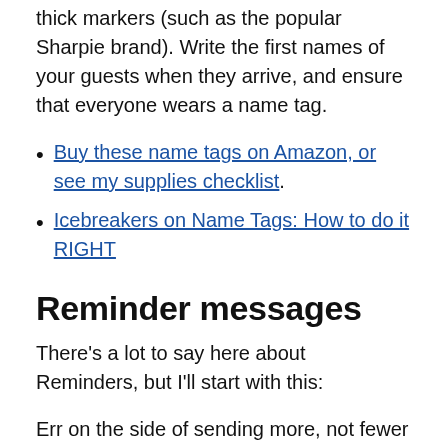thick markers (such as the popular Sharpie brand). Write the first names of your guests when they arrive, and ensure that everyone wears a name tag.
Buy these name tags on Amazon, or see my supplies checklist.
Icebreakers on Name Tags: How to do it RIGHT
Reminder messages
There’s a lot to say here about Reminders, but I’ll start with this:
Err on the side of sending more, not fewer